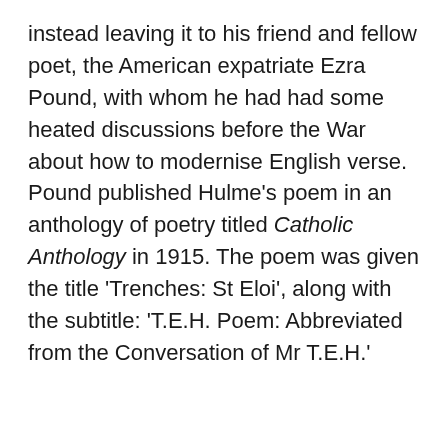instead leaving it to his friend and fellow poet, the American expatriate Ezra Pound, with whom he had had some heated discussions before the War about how to modernise English verse. Pound published Hulme's poem in an anthology of poetry titled Catholic Anthology in 1915. The poem was given the title 'Trenches: St Eloi', along with the subtitle: 'T.E.H. Poem: Abbreviated from the Conversation of Mr T.E.H.'